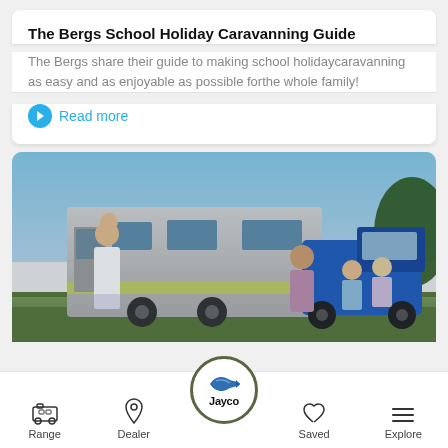The Bergs School Holiday Caravanning Guide
The Bergs share their guide to making school holidaycaravanning as easy and as enjoyable as possible forthe whole family!
Read more
[Figure (photo): Family with a Jayco caravan and blue pickup truck outdoors on a sunny day. A woman holding a child stands near the open caravan door, with other family members and children in the background.]
Range | Dealer | [Jayco Logo] | Saved | Explore